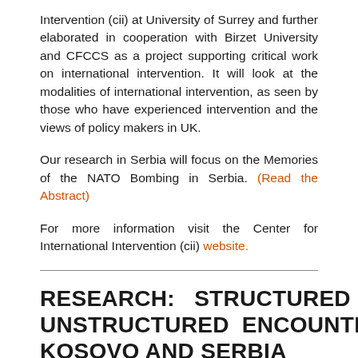Intervention (cii) at University of Surrey and further elaborated in cooperation with Birzet University and CFCCS as a project supporting critical work on international intervention. It will look at the modalities of international intervention, as seen by those who have experienced intervention and the views of policy makers in UK.
Our research in Serbia will focus on the Memories of the NATO Bombing in Serbia. (Read the Abstract)
For more information visit the Center for International Intervention (cii) website.
RESEARCH: STRUCTURED AND UNSTRUCTURED ENCOUNTERS IN KOSOVO AND SERBIA
In the year beginning 2011, CFCCS conducted...